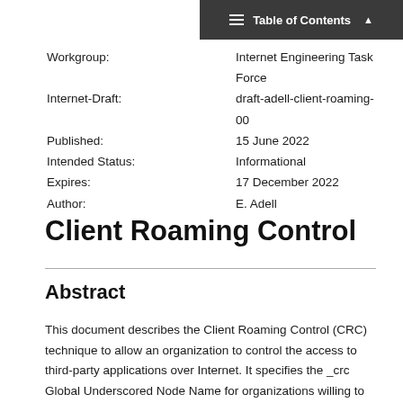Table of Contents
Workgroup: Internet Engineering Task Force
Internet-Draft: draft-adell-client-roaming-00
Published: 15 June 2022
Intended Status: Informational
Expires: 17 December 2022
Author: E. Adell
Client Roaming Control
Abstract
This document describes the Client Roaming Control (CRC) technique to allow an organization to control the access to third-party applications over Internet. It specifies the _crc Global Underscored Node Name for organizations willing to implement this technique. A new Client Roaming Support (CRS) Resource Record is also introduced for the applications